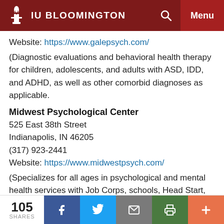IU BLOOMINGTON
Website: https://www.galepsych.com/
(Diagnostic evaluations and behavioral health therapy for children, adolescents, and adults with ASD, IDD, and ADHD, as well as other comorbid diagnoses as applicable.
Midwest Psychological Center
525 East 38th Street
Indianapolis, IN 46205
(317) 923-2441
Website: https://www.midwestpsych.com/
(Specializes for all ages in psychological and mental health services with Job Corps, schools, Head Start, hospitals, correctional behavioral care, and other public
105 SHARES